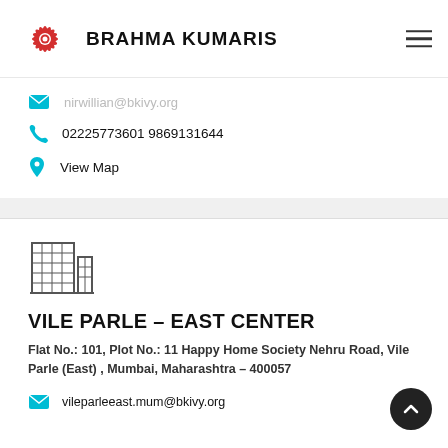[Figure (logo): Brahma Kumaris logo: red starburst with white center dot, beside bold text BRAHMA KUMARIS]
nirwillian@bkivy.org (partially obscured)
02225773601 9869131644
View Map
[Figure (illustration): Building/office icon in outline style]
VILE PARLE – EAST CENTER
Flat No.: 101, Plot No.: 11 Happy Home Society Nehru Road, Vile Parle (East) , Mumbai, Maharashtra – 400057
vileparleeast.mum@bkivy.org